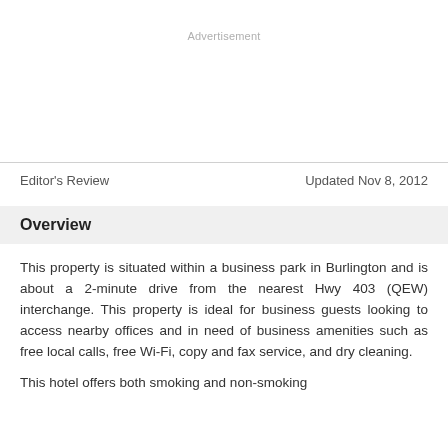Advertisement
Editor's Review
Updated Nov 8, 2012
Overview
This property is situated within a business park in Burlington and is about a 2-minute drive from the nearest Hwy 403 (QEW) interchange. This property is ideal for business guests looking to access nearby offices and in need of business amenities such as free local calls, free Wi-Fi, copy and fax service, and dry cleaning.
This hotel offers both smoking and non-smoking